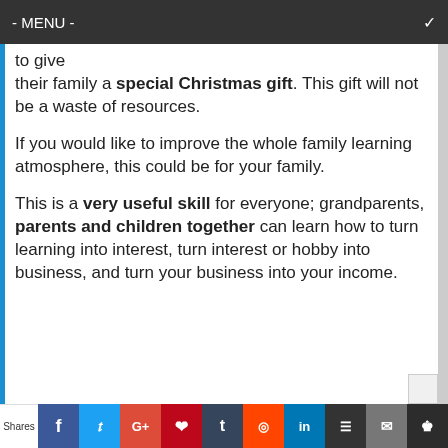- MENU -
to give their family a special Christmas gift. This gift will not be a waste of resources.
If you would like to improve the whole family learning atmosphere, this could be for your family.
This is a very useful skill for everyone; grandparents, parents and children together can learn how to turn learning into interest, turn interest or hobby into business, and turn your business into your income.
Shares  f  t  G+  P  t  reddit  in  layers  mail  crown